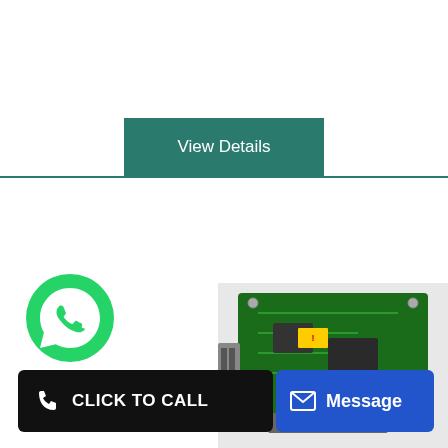[Figure (screenshot): Teal/green 'View Details' button centered on page]
[Figure (photo): Green circuit board / networking card module visible in lower right portion of page]
[Figure (logo): Green WhatsApp phone icon bubble in lower left area]
[Figure (screenshot): Black 'CLICK TO CALL' button with phone icon in lower left]
[Figure (screenshot): Blue 'Message' button with envelope icon in lower right]